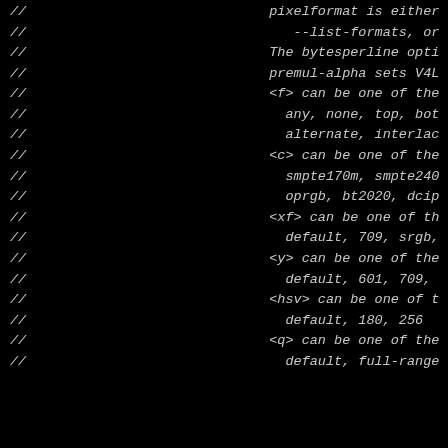// pixelformat is either
// --list-formats, or
// The bytesperline opti
// premul-alpha sets V4L
// <f> can be one of the
// any, none, top, bot
// alternate, interlac
// <c> can be one of the
// smpte170m, smpte240
// oprgb, bt2020, dcip
// <xf> can be one of th
// default, 709, srgb,
// <y> can be one of the
// default, 601, 709,
// <hsv> can be one of t
// default, 180, 256
// <q> can be one of the
// default, full-range